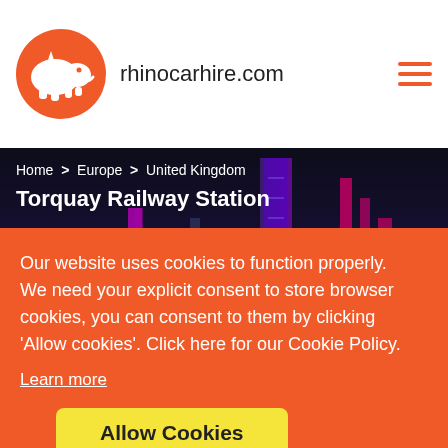rhinocarhire.com
Home > Europe > United Kingdom
Torquay Railway Station
Car Hire Torquay Railway Station
"Torquay Railway Station is almost on Torquay's beachfront. Hiring a car there gets you quickly to the main attractions."
Our website uses cookies to function properly. We need your explicit consent to store browser cookies, you can consent to them by clicking 'Allow cookies'. Click here for our Cookie Policy.
Learn more
Allow Cookies
Pick-up
City, airport, tourist, station, postcode...